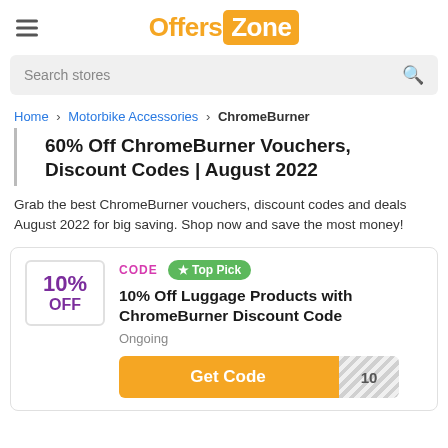Offers Zone
Search stores
Home › Motorbike Accessories › ChromeBurner
60% Off ChromeBurner Vouchers, Discount Codes | August 2022
Grab the best ChromeBurner vouchers, discount codes and deals August 2022 for big saving. Shop now and save the most money!
CODE ★ Top Pick
10% Off Luggage Products with ChromeBurner Discount Code
Ongoing
Get Code 10